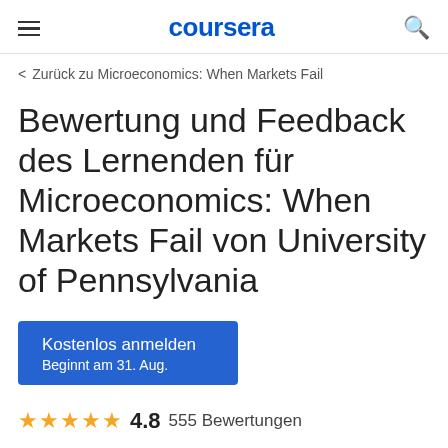coursera
< Zurück zu Microeconomics: When Markets Fail
Bewertung und Feedback des Lernenden für Microeconomics: When Markets Fail von University of Pennsylvania
Kostenlos anmelden
Beginnt am 31. Aug.
4.8  555 Bewertungen